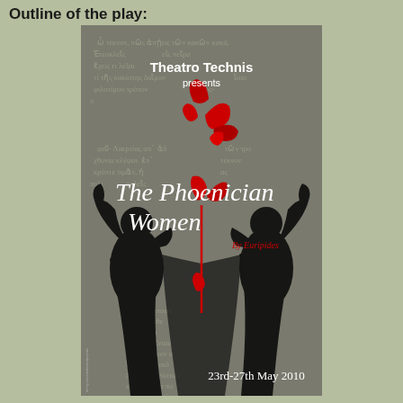Outline of the play:
[Figure (illustration): Theatre poster for 'The Phoenician Women' by Euripides, presented by Theatro Technis. The poster features a dark olive/grey background with Greek text overlaid, two mirrored black silhouettes of female figures with hands raised to their heads, red poppy/splash artwork dripping from the centre, and text reading 'Theatro Technis presents The Phoenician Women By Euripides 23rd-27th May 2010'.]